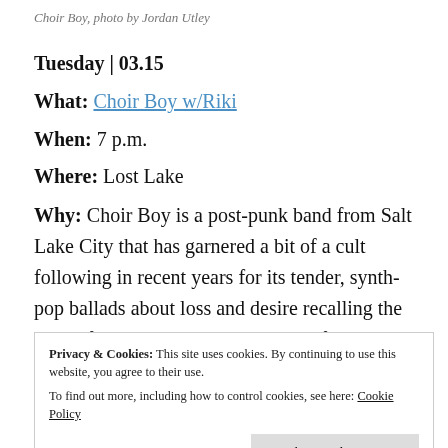Choir Boy, photo by Jordan Utley
Tuesday | 03.15
What: Choir Boy w/Riki
When: 7 p.m.
Where: Lost Lake
Why: Choir Boy is a post-punk band from Salt Lake City that has garnered a bit of a cult following in recent years for its tender, synth-pop ballads about loss and desire recalling the likes of the more melancholic end of Thompson Twins and Felt. Riki sounds like she came from an alternate dimension where she had a career
Privacy & Cookies: This site uses cookies. By continuing to use this website, you agree to their use. To find out more, including how to control cookies, see here: Cookie Policy
for the mood Riki has evoked of late night adventures in